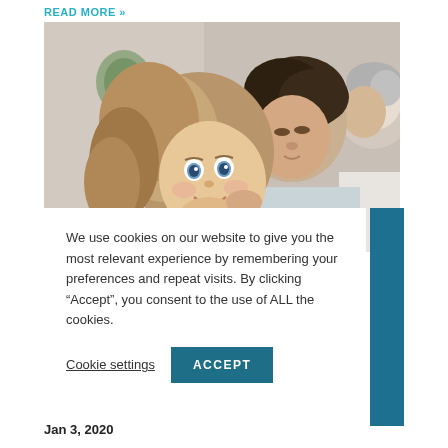READ MORE »
[Figure (photo): A young smiling girl with a woman (mother) looking at her lovingly, and an older man (doctor/grandfather) partially visible on the right side of the image.]
We use cookies on our website to give you the most relevant experience by remembering your preferences and repeat visits. By clicking “Accept”, you consent to the use of ALL the cookies.
Cookie settings    ACCEPT
Jan 3, 2020